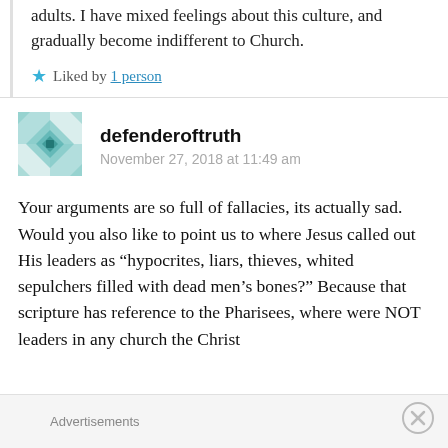adults. I have mixed feelings about this culture, and gradually become indifferent to Church.
Liked by 1 person
defenderoftruth
November 27, 2018 at 11:49 am
Your arguments are so full of fallacies, its actually sad. Would you also like to point us to where Jesus called out His leaders as “hypocrites, liars, thieves, whited sepulchers filled with dead men’s bones?” Because that scripture has reference to the Pharisees, where were NOT leaders in any church the Christ
Advertisements